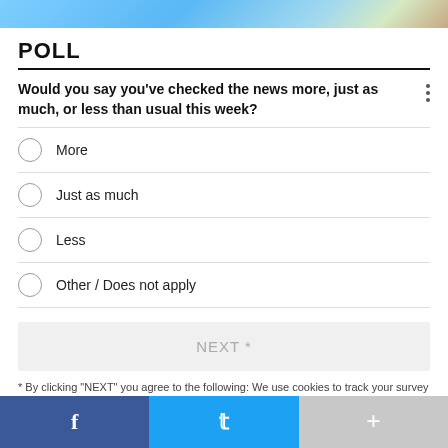[Figure (photo): Top image strip showing partial photo with blue and teal colors]
POLL
Would you say you've checked the news more, just as much, or less than usual this week?
More
Just as much
Less
Other / Does not apply
NEXT *
* By clicking "NEXT" you agree to the following: We use cookies to track your survey answers. If you would like to continue with this survey, please read and agree to the CivicScience Privacy Policy
[Figure (screenshot): Social media sharing bar with Facebook, Twitter, and more buttons]